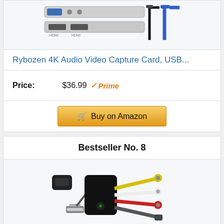[Figure (photo): Rybozen 4K USB capture card device shown with HDMI ports, USB port, audio jacks, and USB cables (black and blue)]
Rybozen 4K Audio Video Capture Card, USB...
Price: $36.99 Prime
Buy on Amazon
Bestseller No. 8
[Figure (photo): USB video capture device with RCA cables (yellow, white, red) and S-Video connector, plus USB cable]